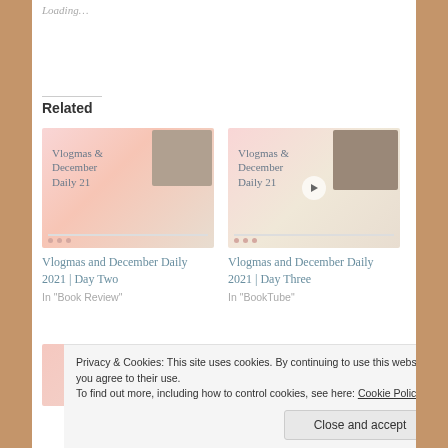Loading…
Related
[Figure (screenshot): Thumbnail for Vlogmas and December Daily 2021 Day Two blog post, showing decorative pink watercolor background with script text and a photo inset]
Vlogmas and December Daily 2021 | Day Two
In "Book Review"
[Figure (screenshot): Thumbnail for Vlogmas and December Daily 2021 Day Three blog post, showing decorative pink watercolor background with script text and a photo inset with play button]
Vlogmas and December Daily 2021 | Day Three
In "BookTube"
[Figure (screenshot): Partial thumbnail for a third related post, partially obscured by cookie banner]
Privacy & Cookies: This site uses cookies. By continuing to use this website, you agree to their use.
To find out more, including how to control cookies, see here: Cookie Policy
Close and accept
In "BookTube"